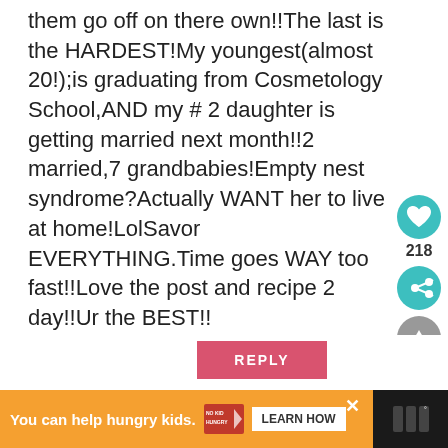them go off on there own!!The last is the HARDEST!My youngest(almost 20!);is graduating from Cosmetology School,AND my # 2 daughter is getting married next month!!2 married,7 grandbabies!Empty nest syndrome?Actually WANT her to live at home!LolSavor EVERYTHING.Time goes WAY too fast!!Love the post and recipe 2 day!!Ur the BEST!!
REPLY
[Figure (infographic): Teal heart icon button with like count 218, share icon button, and up arrow scroll button on right sidebar]
[Figure (infographic): Orange advertisement bar: You can help hungry kids. No Kid Hungry logo. LEARN HOW button. Close X. Dark section with app icon.]